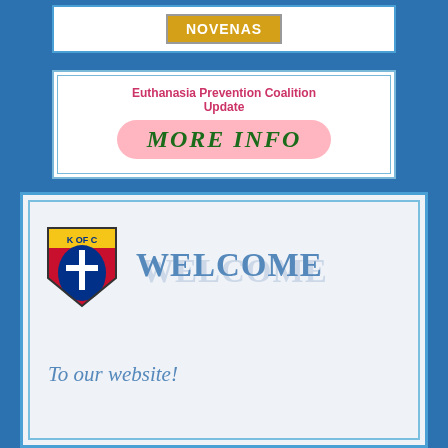[Figure (screenshot): Navigation button labeled NOVENAS with gold/yellow background inside a bordered box]
Euthanasia Prevention Coalition Update
MORE INFO
[Figure (logo): Knights of Columbus (K of C) shield logo with cross and anchor]
WELCOME
To our website!
The aim of this website is to provide an up to date source